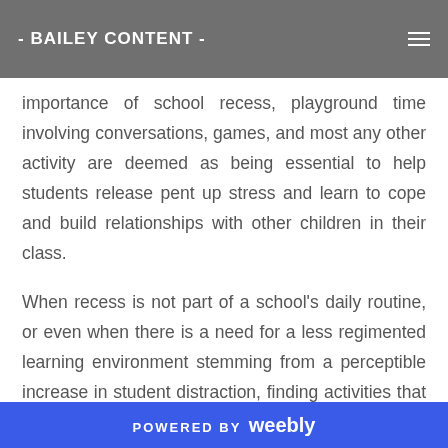- BAILEY CONTENT -
doing activities that they find important. According to a recent article by Dulwich College discussing the importance of school recess, playground time involving conversations, games, and most any other activity are deemed as being essential to help students release pent up stress and learn to cope and build relationships with other children in their class.
When recess is not part of a school's daily routine, or even when there is a need for a less regimented learning environment stemming from a perceptible increase in student distraction, finding activities that allow for freedom of imagination, exploration, movement, and expression of ideas may prove to be a necessity
POWERED BY weebly